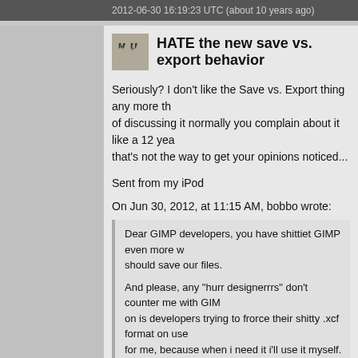2012-06-30 16:19:23 UTC (about 10 years ago)
HATE the new save vs. export behavior
Seriously? I don't like the Save vs. Export thing any more than you do, but instead of discussing it normally you complain about it like a 12 year old? Trust me, that's not the way to get your opinions noticed...
Sent from my iPod
On Jun 30, 2012, at 11:15 AM, bobbo wrote:
Dear GIMP developers, you have shittiet GIMP even more with deciding how we should save our files.

And please, any "hurr designerrrs" don't counter me with GIMP argument. What's going on is developers trying to frorce their shitty .xcf format on users. Don't save the xcf for me, because when i need it i'll use it myself.

-- bobbo (via gimpusers.com)
gimp-user-list@gnome.org
https://mail.gnome.org/mailman/listinfo/gimp-user-list